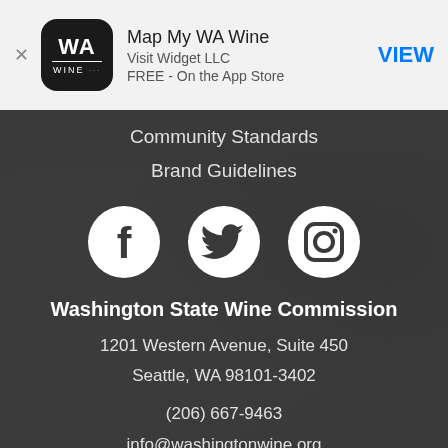[Figure (screenshot): App store banner for Map My WA Wine app by Visit Widget LLC, FREE on the App Store, with VIEW button]
Community Standards
Brand Guidelines
[Figure (illustration): Three social media icons: Facebook, Twitter, Instagram — white icons on dark background]
Washington State Wine Commission
1201 Western Avenue, Suite 450
Seattle, WA 98101-3402
(206) 667-9463
info@washingtonwine.org